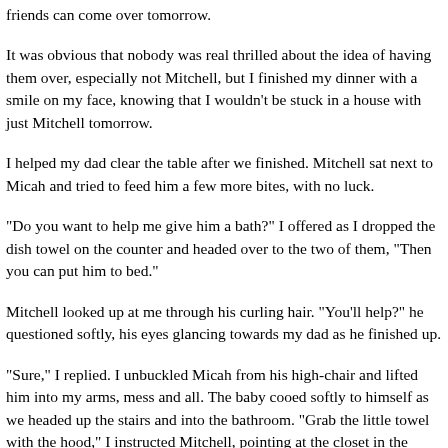friends can come over tomorrow.
It was obvious that nobody was real thrilled about the idea of having them over, especially not Mitchell, but I finished my dinner with a smile on my face, knowing that I wouldn't be stuck in a house with just Mitchell tomorrow.
I helped my dad clear the table after we finished. Mitchell sat next to Micah and tried to feed him a few more bites, with no luck.
"Do you want to help me give him a bath?" I offered as I dropped the dish towel on the counter and headed over to the two of them, "Then you can put him to bed."
Mitchell looked up at me through his curling hair. "You'll help?" he questioned softly, his eyes glancing towards my dad as he finished up.
"Sure," I replied. I unbuckled Micah from his high-chair and lifted him into my arms, mess and all. The baby cooed softly to himself as we headed up the stairs and into the bathroom. "Grab the little towel with the hood," I instructed Mitchell, pointing at the closet in the bathroom.
He got Micah's towel as I started the bath and inserted Micah's seat. Mitchell sat on the lid of the toilet as I undressed our son and set him in the warm water. Micah fussed as he was submerged.